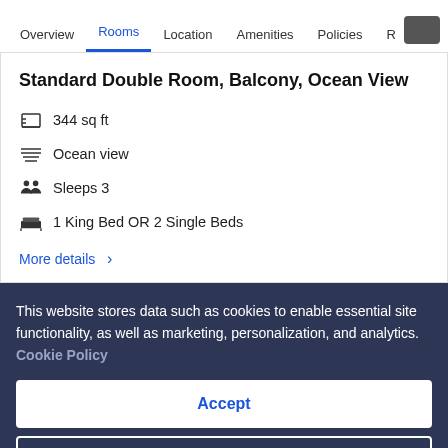Overview | Rooms | Location | Amenities | Policies | R
Standard Double Room, Balcony, Ocean View
344 sq ft
Ocean view
Sleeps 3
1 King Bed OR 2 Single Beds
More details >
This website stores data such as cookies to enable essential site functionality, as well as marketing, personalization, and analytics. Cookie Policy
Accept
Deny